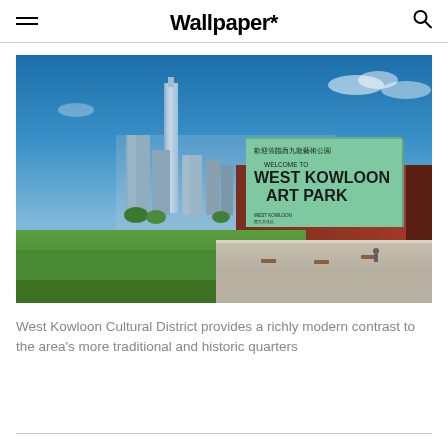Wallpaper*
[Figure (photo): Exterior view of West Kowloon Cultural District showing a large green sign reading 'WELCOME TO WEST KOWLOON ART PARK' on a red building facade, with Hong Kong skyscrapers in the background and a green lawn in the foreground under a blue sky.]
West Kowloon Cultural District provides a richly modern contrast to the area's more traditional and historic quarters